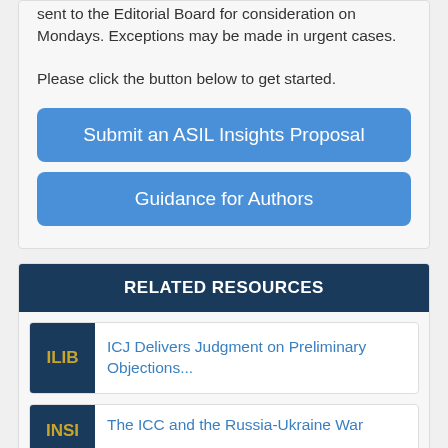sent to the Editorial Board for consideration on Mondays. Exceptions may be made in urgent cases.
Please click the button below to get started.
Submit an ASIL Insights Proposal
Guidance for Authors
RELATED RESOURCES
ICJ Delivers Judgment on Preliminary Objections...
The ICC and the Russia-Ukraine War